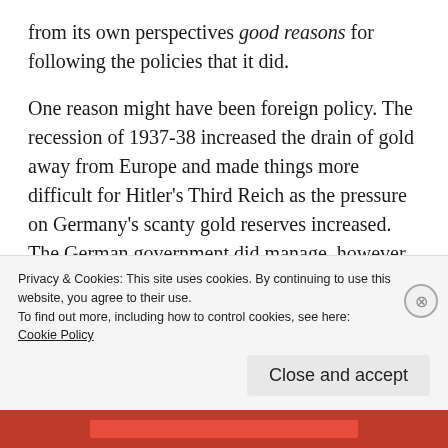from its own perspectives good reasons for following the policies that it did.
One reason might have been foreign policy. The recession of 1937-38 increased the drain of gold away from Europe and made things more difficult for Hitler's Third Reich as the pressure on Germany's scanty gold reserves increased. The German government did manage, however, to double its gold reserves
Privacy & Cookies: This site uses cookies. By continuing to use this website, you agree to their use.
To find out more, including how to control cookies, see here:
Cookie Policy
Close and accept